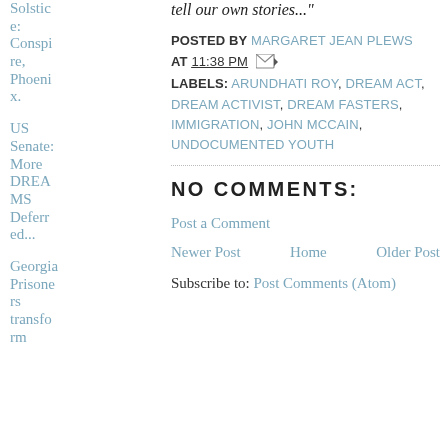Solstice: Conspire, Phoenix.
US Senate: More DREAMS Deferred...
Georgia Prisoners transform...
tell our own stories..."
POSTED BY MARGARET JEAN PLEWS AT 11:38 PM
LABELS: ARUNDHATI ROY, DREAM ACT, DREAM ACTIVIST, DREAM FASTERS, IMMIGRATION, JOHN MCCAIN, UNDOCUMENTED YOUTH
NO COMMENTS:
Post a Comment
Newer Post   Home   Older Post
Subscribe to: Post Comments (Atom)